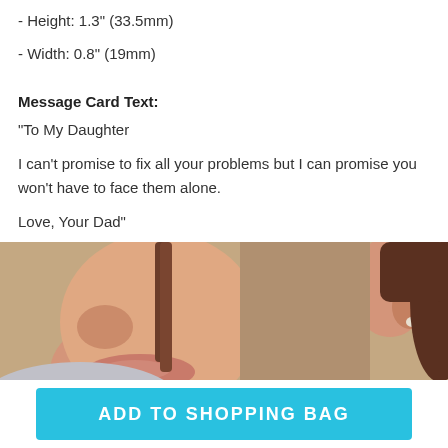- Height: 1.3" (33.5mm)
- Width: 0.8" (19mm)
Message Card Text:
"To My Daughter

I can't promise to fix all your problems but I can promise you won't have to face them alone.

Love, Your Dad"
[Figure (photo): Close-up of a smiling young woman with brown hair, showing her cheek, nose, and ear with a small earring, against a beige background.]
ADD TO SHOPPING BAG